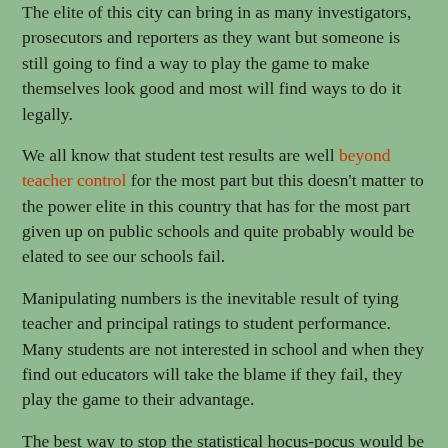The elite of this city can bring in as many investigators, prosecutors and reporters as they want but someone is still going to find a way to play the game to make themselves look good and most will find ways to do it legally.
We all know that student test results are well beyond teacher control for the most part but this doesn't matter to the power elite in this country that has for the most part given up on public schools and quite probably would be elated to see our schools fail.
Manipulating numbers is the inevitable result of tying teacher and principal ratings to student performance.  Many students are not interested in school and when they find out educators will take the blame if they fail, they play the game to their advantage.
The best way to stop the statistical hocus-pocus would be for the UFT and CSA (principal and assistant principal union) to tell the Mayor we are no longer going to play the numbers game. Instead, we would encourage members to expose everything that is occurring and has occurred in numerous schools throughout the system since school reform took hold when Joel Klein was Chancellor.